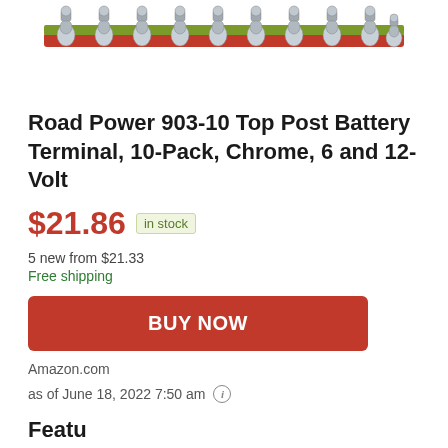[Figure (photo): Photo of Road Power 903-10 battery terminals row, chrome metal fittings on a red bar]
Road Power 903-10 Top Post Battery Terminal, 10-Pack, Chrome, 6 and 12-Volt
$21.86 in stock
5 new from $21.33
Free shipping
BUY NOW
Amazon.com
as of June 18, 2022 7:50 am
Featu